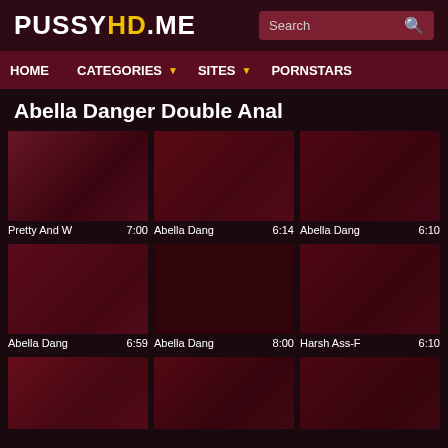PUSSYHD.ME
HOME  CATEGORIES  SITES  PORNSTARS
Abella Danger Double Anal
[Figure (screenshot): Video thumbnail 1 - Pretty And W, 7:00]
[Figure (screenshot): Video thumbnail 2 - Abella Dang, 6:14]
[Figure (screenshot): Video thumbnail 3 - Abella Dang, 6:10]
[Figure (screenshot): Video thumbnail 4 - Abella Dang, 6:59]
[Figure (screenshot): Video thumbnail 5 - Abella Dang, 8:00]
[Figure (screenshot): Video thumbnail 6 - Harsh Ass-F, 6:10]
[Figure (screenshot): Video thumbnail 7 - partial row]
[Figure (screenshot): Video thumbnail 8 - partial row]
[Figure (screenshot): Video thumbnail 9 - partial row]